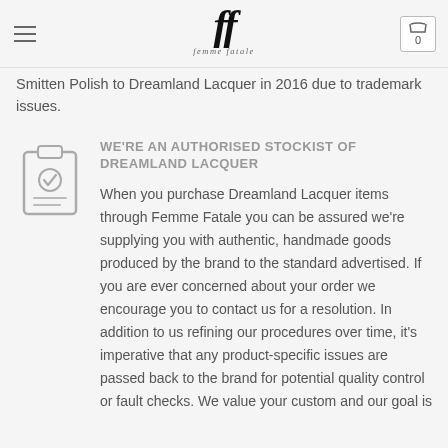Femme Fatale – header with logo and cart
Nicole was a passionate nail colour and blogger addict nail polish, so it was an easy transition into experimenting with making her own lac... The name was changed from Smitten Polish to Dreamland Lacquer in 2016 due to trademark issues.
WE'RE AN AUTHORISED STOCKIST OF DREAMLAND LACQUER
When you purchase Dreamland Lacquer items through Femme Fatale you can be assured we're supplying you with authentic, handmade goods produced by the brand to the standard advertised. If you are ever concerned about your order we encourage you to contact us for a resolution. In addition to us refining our procedures over time, it's imperative that any product-specific issues are passed back to the brand for potential quality control or fault checks. We value your custom and our goal is